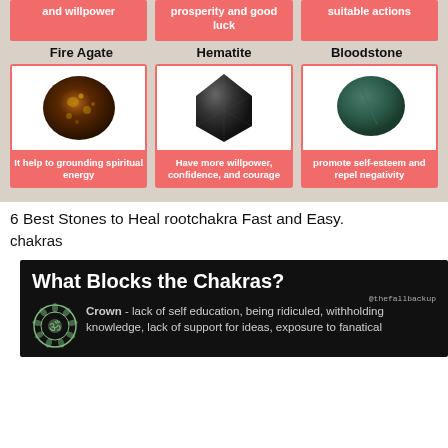[Figure (infographic): Partial top row of three pink boxes showing crystal benefits: 'and willpower', 'prosperity and good luck', 'suitable actions'. Below: Fire Agate, Hematite, Bloodstone with photos and descriptions. Fire Agate: It help to grounding spiritual energy. Hematite: Have more willpower, confidence, and courage. Bloodstone: promote self-esteem and repel negativity.]
6 Best Stones to Heal rootchakra Fast and Easy.
chakras
[Figure (infographic): Dark banner: 'What Blocks the Chakras?' with @thefallbackup attribution. Crown chakra symbol on left. Text: Crown - lack of self education, being ridiculed, withholding knowledge, lack of support for ideas, exposure to fanatical]